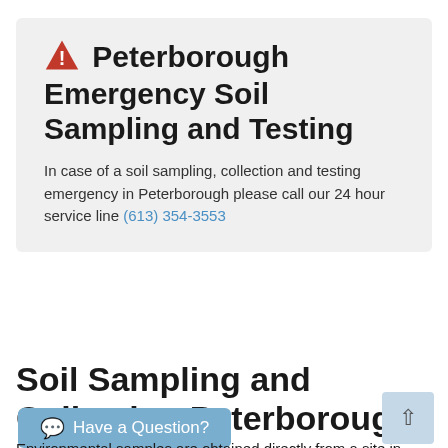⚠ Peterborough Emergency Soil Sampling and Testing
In case of a soil sampling, collection and testing emergency in Peterborough please call our 24 hour service line (613) 354-3553
Soil Sampling and Collection Peterborough
Environmental samples are obtained directly from a site in Peterborough for laboratory testing. Samples will be accompanied